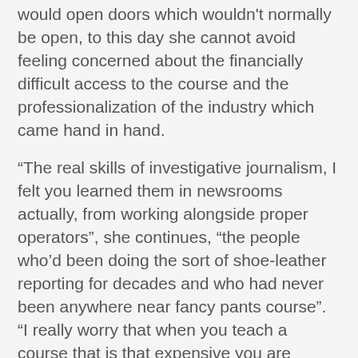would open doors which wouldn't normally be open, to this day she cannot avoid feeling concerned about the financially difficult access to the course and the professionalization of the industry which came hand in hand.
“The real skills of investigative journalism, I felt you learned them in newsrooms actually, from working alongside proper operators”, she continues, “the people who’d been doing the sort of shoe-leather reporting for decades and who had never been anywhere near fancy pants course”. “I really worry that when you teach a course that is that expensive you are limiting the access to investigative journalism and you create a sort of impression that you’re professionalizing a part of an industry whose key competencies cannot really be taught.”
Heather Brooke, for her part, asserted that the MA at City... [continues]